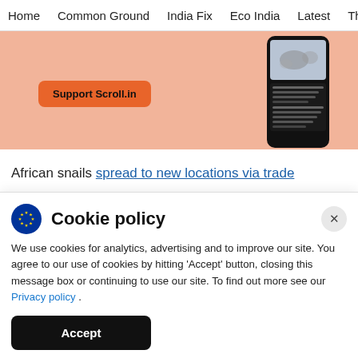Home  Common Ground  India Fix  Eco India  Latest  Th
[Figure (illustration): Salmon/peach colored banner with 'Support Scroll.in' orange button and a phone mockup showing a map and article text on dark background]
African snails spread to new locations via trade
Cookie policy
We use cookies for analytics, advertising and to improve our site. You agree to our use of cookies by hitting 'Accept' button, closing this message box or continuing to use our site. To find out more see our Privacy policy .
Accept